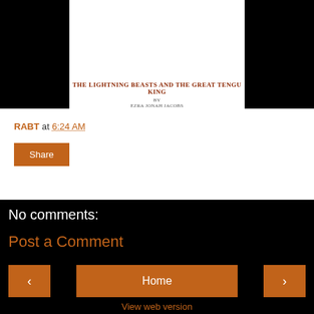[Figure (illustration): Book cover for 'The Lightning Beasts and the Great Tengu King' by Ezra Jonah Jacobs on white background]
RABT at 6:24 AM
Share
No comments:
Post a Comment
Home
View web version
Powered by Blogger.